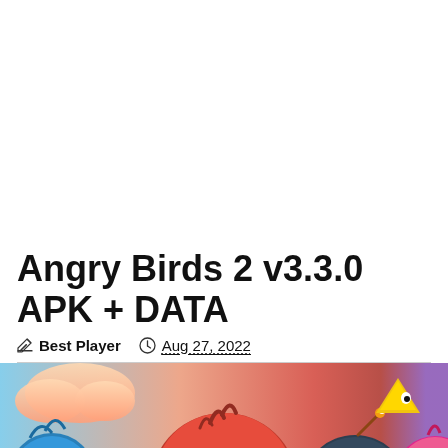Angry Birds 2 v3.3.0 APK + DATA
Best Player   Aug 27, 2022
[Figure (photo): Angry Birds 2 game screenshot showing colorful cartoon bird characters including a blue bird, large red bird, and other characters against a colorful sky background]